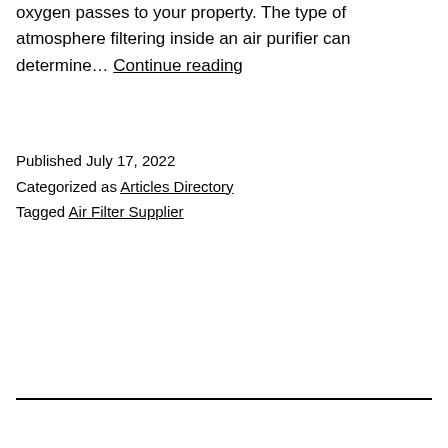oxygen passes to your property. The type of atmosphere filtering inside an air purifier can determine… Continue reading
Published July 17, 2022
Categorized as Articles Directory
Tagged Air Filter Supplier